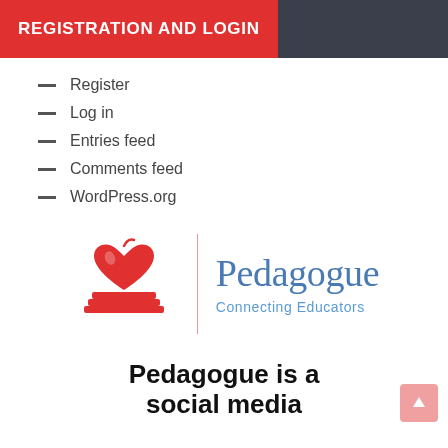REGISTRATION AND LOGIN
Register
Log in
Entries feed
Comments feed
WordPress.org
[Figure (logo): Pedagogue logo: red apple and books icon on left, vertical pink divider, 'Pedagogue' in blue serif text with 'Connecting Educators' subtitle in lighter blue]
Pedagogue is a social media